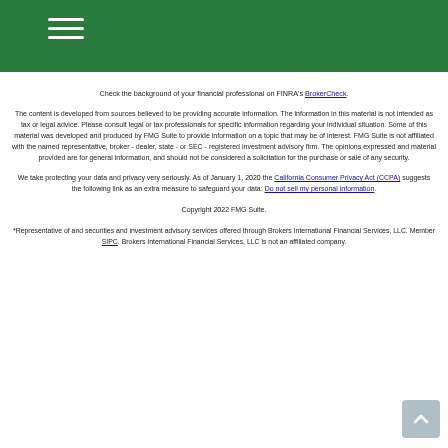Check the background of your financial professional on FINRA's BrokerCheck.
The content is developed from sources believed to be providing accurate information. The information in this material is not intended as tax or legal advice. Please consult legal or tax professionals for specific information regarding your individual situation. Some of this material was developed and produced by FMG Suite to provide information on a topic that may be of interest. FMG Suite is not affiliated with the named representative, broker - dealer, state - or SEC - registered investment advisory firm. The opinions expressed and material provided are for general information, and should not be considered a solicitation for the purchase or sale of any security.
We take protecting your data and privacy very seriously. As of January 1, 2020 the California Consumer Privacy Act (CCPA) suggests the following link as an extra measure to safeguard your data: Do not sell my personal information.
Copyright 2022 FMG Suite.
*Representative of and securities and investment advisory services offered through Brokers International Financial Services, LLC. Member SIPC. Brokers International Financial Services, LLC is not an affiliated company.